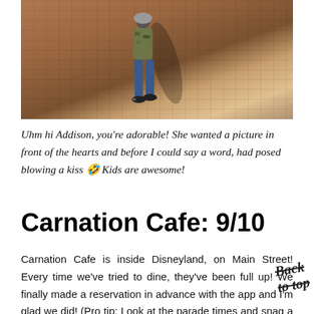[Figure (photo): Person walking along a brick wall path, wearing jeans and a camouflage jacket, casting a shadow on the brick wall. Brick herringbone pavement visible.]
Uhm hi Addison, you're adorable! She wanted a picture in front of the hearts and before I could say a word, had posed blowing a kiss 🤣 Kids are awesome!
Carnation Cafe: 9/10
Carnation Cafe is inside Disneyland, on Main Street! Every time we've tried to dine, they've been full up! We finally made a reservation in advance with the app and I'm glad we did! (Pro tip: Look at the parade times and snag a seat outside during the parade, you have a seated